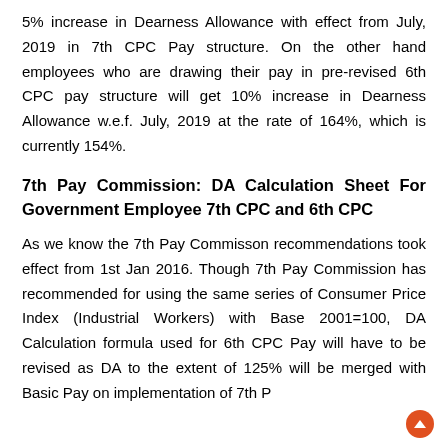5% increase in Dearness Allowance with effect from July, 2019 in 7th CPC Pay structure. On the other hand employees who are drawing their pay in pre-revised 6th CPC pay structure will get 10% increase in Dearness Allowance w.e.f. July, 2019 at the rate of 164%, which is currently 154%.
7th Pay Commission: DA Calculation Sheet For Government Employee 7th CPC and 6th CPC
As we know the 7th Pay Commisson recommendations took effect from 1st Jan 2016. Though 7th Pay Commission has recommended for using the same series of Consumer Price Index (Industrial Workers) with Base 2001=100, DA Calculation formula used for 6th CPC Pay will have to be revised as DA to the extent of 125% will be merged with Basic Pay on implementation of 7th P